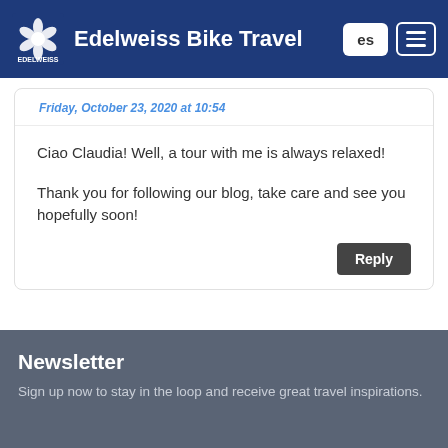Edelweiss Bike Travel
Friday, October 23, 2020 at 10:54
Ciao Claudia! Well, a tour with me is always relaxed!

Thank you for following our blog, take care and see you hopefully soon!
Facebook
Twitter
Newsletter
Sign up now to stay in the loop and receive great travel inspirations.